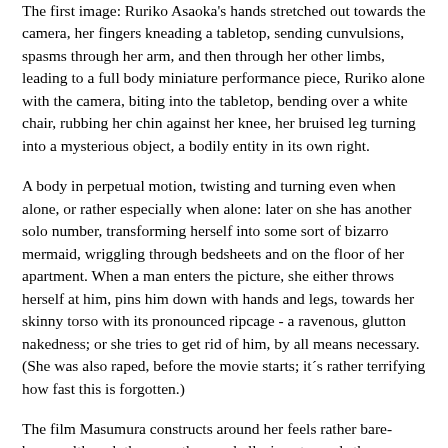The first image: Ruriko Asaoka's hands stretched out towards the camera, her fingers kneading a tabletop, sending cunvulsions, spasms through her arm, and then through her other limbs, leading to a full body miniature performance piece, Ruriko alone with the camera, biting into the tabletop, bending over a white chair, rubbing her chin against her knee, her bruised leg turning into a mysterious object, a bodily entity in its own right.
A body in perpetual motion, twisting and turning even when alone, or rather especially when alone: later on she has another solo number, transforming herself into some sort of bizarro mermaid, wriggling through bedsheets and on the floor of her apartment. When a man enters the picture, she either throws herself at him, pins him down with hands and legs, towards her skinny torso with its pronounced ripcage - a ravenous, glutton nakedness; or she tries to get rid of him, by all means necessary. (She was also raped, before the movie starts; it´s rather terrifying how fast this is forgotten.)
The film Masumura constructs around her feels rather bare-bones, although there are the usual allusions towards the war trauma and capitalist corruption. But in the end it's all